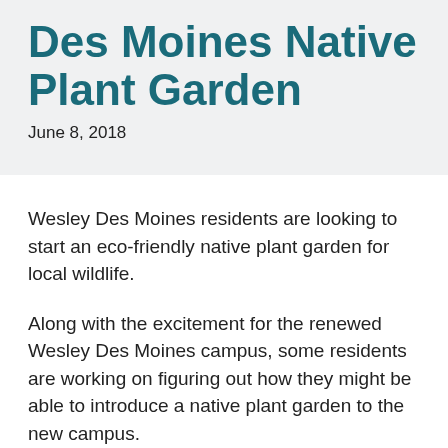Des Moines Native Plant Garden
June 8, 2018
Wesley Des Moines residents are looking to start an eco-friendly native plant garden for local wildlife.
Along with the excitement for the renewed Wesley Des Moines campus, some residents are working on figuring out how they might be able to introduce a native plant garden to the new campus.